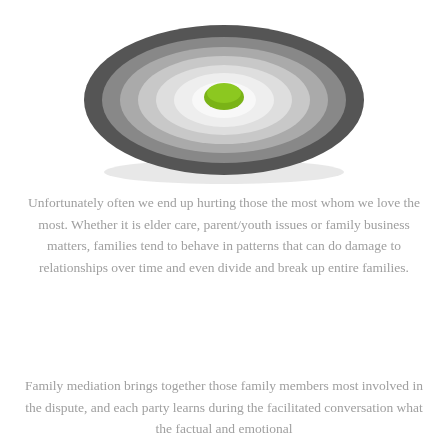[Figure (illustration): Concentric oval/elliptical rings in shades of dark gray to light gray, with a green oval at the center top, forming a target-like or ripple illustration. A flat oval shadow sits beneath the rings.]
Unfortunately often we end up hurting those the most whom we love the most. Whether it is elder care, parent/youth issues or family business matters, families tend to behave in patterns that can do damage to relationships over time and even divide and break up entire families.
Family mediation brings together those family members most involved in the dispute, and each party learns during the facilitated conversation what the factual and emotional